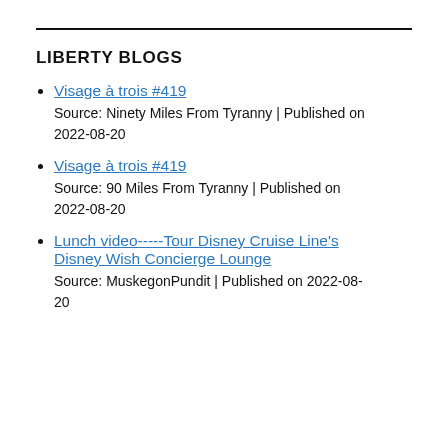LIBERTY BLOGS
Visage à trois #419
Source: Ninety Miles From Tyranny | Published on 2022-08-20
Visage à trois #419
Source: 90 Miles From Tyranny | Published on 2022-08-20
Lunch video-----Tour Disney Cruise Line's Disney Wish Concierge Lounge
Source: MuskegonPundit | Published on 2022-08-20